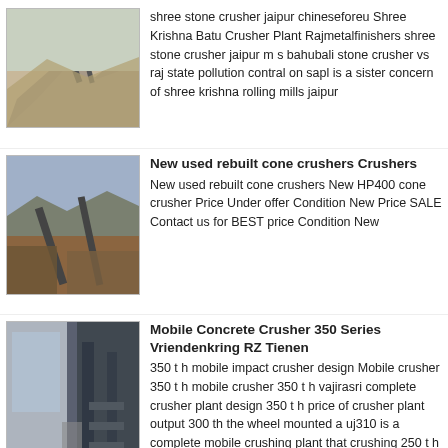[Figure (photo): Outdoor stone crusher site with mounds of crushed stone and conveyor belts in a dry landscape]
shree stone crusher jaipur chineseforeu Shree Krishna Batu Crusher Plant Rajmetalfinishers shree stone crusher jaipur m s bahubali stone crusher vs raj state pollution contral on sapl is a sister concern of shree krishna rolling mills jaipur
[Figure (photo): Industrial crusher plant with machinery and equipment outdoors with cloudy sky]
New used rebuilt cone crushers Crushers
New used rebuilt cone crushers New HP400 cone crusher Price Under offer Condition New Price SALE Contact us for BEST price Condition New
[Figure (photo): Interior view of a mobile concrete crusher facility with industrial equipment and stairs]
Mobile Concrete Crusher 350 Series Vriendenkring RZ Tienen
350 t h mobile impact crusher design Mobile crusher 350 t h mobile crusher 350 t h vajirasri complete crusher plant design 350 t h price of crusher plant output 300 th the wheel mounted a uj310 is a complete mobile crushing plant that crushing 250 t h